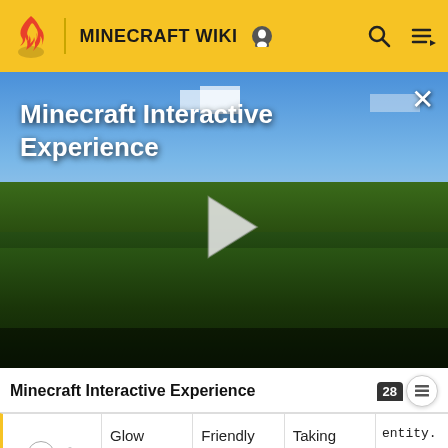MINECRAFT WIKI
[Figure (screenshot): Minecraft game screenshot showing a green field landscape with blue sky and trees, used as video thumbnail with play button overlay and title 'Minecraft Interactive Experience']
Minecraft Interactive Experience
|  | Glow Squid hurts | Friendly Creatures | Taking damage | entity. |
| --- | --- | --- | --- | --- |
| — ⋮ | Glow
Squid
hurts | Friendly
Creatures | Taking
damage | entity. |